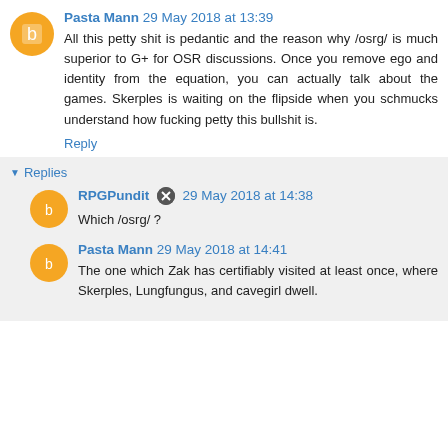Pasta Mann 29 May 2018 at 13:39
All this petty shit is pedantic and the reason why /osrg/ is much superior to G+ for OSR discussions. Once you remove ego and identity from the equation, you can actually talk about the games. Skerples is waiting on the flipside when you schmucks understand how fucking petty this bullshit is.
Reply
Replies
RPGPundit 29 May 2018 at 14:38
Which /osrg/ ?
Pasta Mann 29 May 2018 at 14:41
The one which Zak has certifiably visited at least once, where Skerples, Lungfungus, and cavegirl dwell.